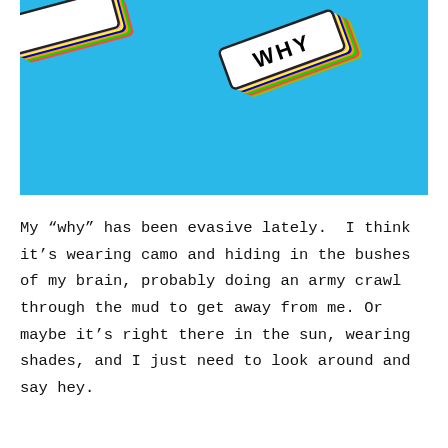[Figure (photo): Photo of colorful enamel pins on a bright blue background. One pin reads 'WHY' in white bold letters with rainbow layered shadow effect. Another partial pin is visible at the top left.]
My “why” has been evasive lately.  I think it’s wearing camo and hiding in the bushes of my brain, probably doing an army crawl through the mud to get away from me. Or maybe it’s right there in the sun, wearing shades, and I just need to look around and say hey.